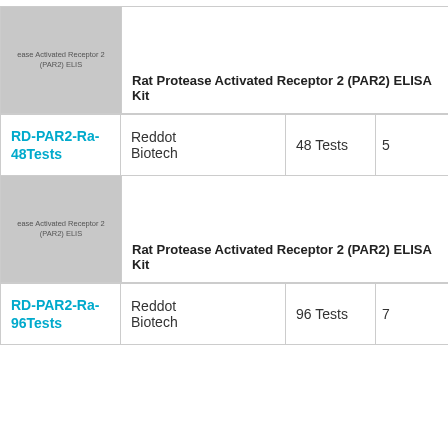[Figure (photo): Product image placeholder for Rat Protease Activated Receptor 2 (PAR2) ELISA Kit (48 Tests)]
Rat Protease Activated Receptor 2 (PAR2) ELISA Kit
| SKU | Supplier | Size | Price |
| --- | --- | --- | --- |
| RD-PAR2-Ra-48Tests | Reddot Biotech | 48 Tests | 5... |
[Figure (photo): Product image placeholder for Rat Protease Activated Receptor 2 (PAR2) ELISA Kit (96 Tests)]
Rat Protease Activated Receptor 2 (PAR2) ELISA Kit
| SKU | Supplier | Size | Price |
| --- | --- | --- | --- |
| RD-PAR2-Ra-96Tests | Reddot Biotech | 96 Tests | 7... |